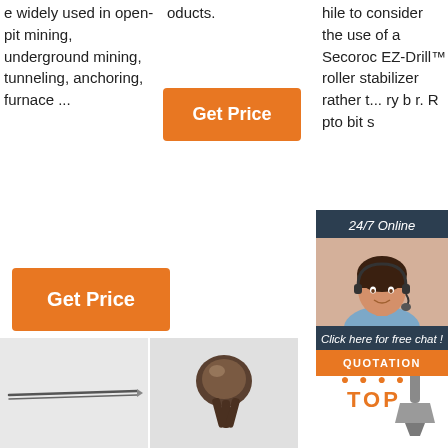e widely used in open-pit mining, underground mining, tunneling, anchoring, furnace ...
oducts.
[Figure (screenshot): Orange 'Get Price' button in center column]
hile to consider the use of a Secoroc EZ-Drill™ roller stabilizer rather than a rotary bit. Receptions bit s...
[Figure (screenshot): Orange 'Get Price' button in left column]
[Figure (screenshot): Chat popup overlay with '24/7 Online', agent photo, 'Click here for free chat!', and QUOTATION button; also partial orange 'G...' button]
[Figure (photo): Thin needle or rod product image]
[Figure (photo): Drill bit product photo on white/grey background]
[Figure (logo): TOP logo with orange dots and text, with drill bit or chisel tool image]